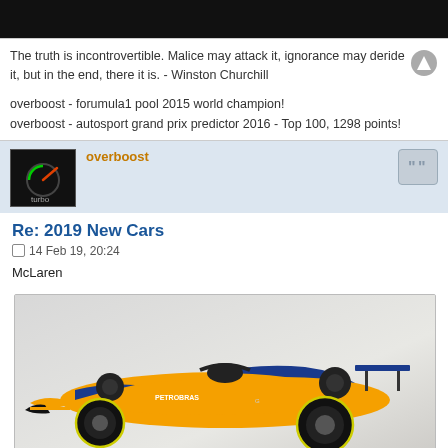[Figure (photo): Black banner image at the top of the page]
The truth is incontrovertible. Malice may attack it, ignorance may deride it, but in the end, there it is. - Winston Churchill
overboost - forumula1 pool 2015 world champion!
overboost - autosport grand prix predictor 2016 - Top 100, 1298 points!
[Figure (photo): User avatar: black background with turbo gauge logo and text 'turbo']
Re: 2019 New Cars
14 Feb 19, 20:24
McLaren
[Figure (photo): Photo of the 2019 McLaren MCL34 Formula 1 car in orange and blue livery on a grey background]